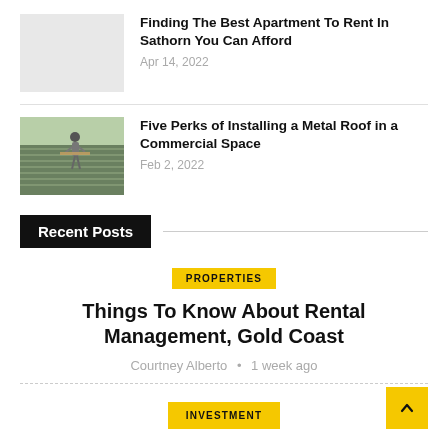[Figure (photo): Light gray placeholder thumbnail for apartment article]
Finding The Best Apartment To Rent In Sathorn You Can Afford
Apr 14, 2022
[Figure (photo): Photo of a worker installing a metal roof on a commercial building]
Five Perks of Installing a Metal Roof in a Commercial Space
Feb 2, 2022
Recent Posts
PROPERTIES
Things To Know About Rental Management, Gold Coast
Courtney Alberto • 1 week ago
INVESTMENT